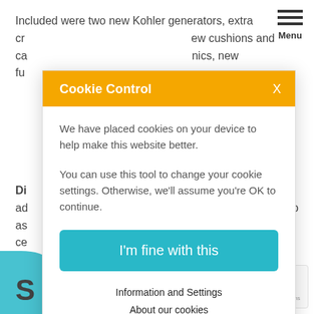Included were two new Kohler generators, extra cr... ew cushions and ca... nics, new fu...
Di... ad... is pleased to as... sel. This boat is ce...
13...
S
[Figure (screenshot): Cookie Control modal dialog with orange header, 'Cookie Control' title and X close button, body text about cookies, 'I'm fine with this' teal button, and links for Information and Settings and About our cookies]
ALLERY